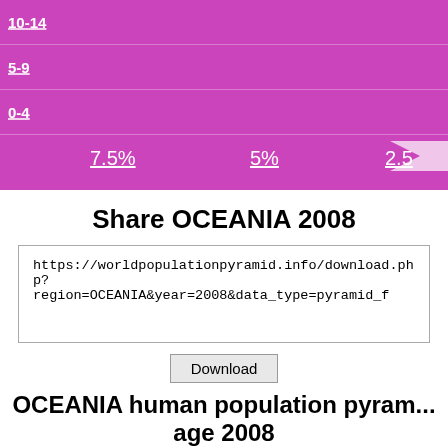[Figure (other): Bottom portion of a population pyramid chart for OCEANIA showing age groups 10-14, 5-9, 0-4 with pink/magenta bars and x-axis ticks at 7.5%, 5%, 2.5%]
Share OCEANIA 2008
https://worldpopulationpyramid.info/download.php?region=OCEANIA&year=2008&data_type=pyramid_f
Download
OCEANIA human population pyramid by age 2008
[Figure (other): Top portion of a population pyramid chart for OCEANIA 2008 showing age groups 100+, 95-99, 90-94 with blue bars]